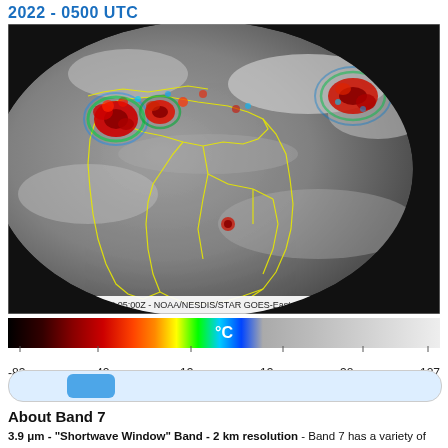2022 - 0500 UTC
[Figure (photo): GOES-East satellite infrared imagery (Band 07) showing South America and surrounding Atlantic/Caribbean region with colorized convective storm cells. Timestamp: 21 Aug 2022 05:00Z - NOAA/NESDIS/STAR GOES-East - Band 07 s(MISSING)]
[Figure (infographic): Temperature color scale bar from -83°C (dark red/black) through rainbow colors to 127°C (white/gray), labeled with °C and tick marks at -83, -42, -13, 13, 38, 127]
[Figure (other): Horizontal slider control with light blue track and blue thumb positioned near left side]
About Band 7
3.9 μm - "Shortwave Window" Band - 2 km resolution - Band 7 has a variety of applications, including fire detection, cloud particle size